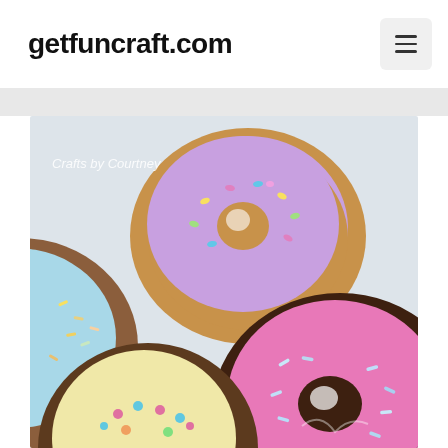getfuncraft.com
[Figure (illustration): Illustrated cartoon-style donuts on a light blue-gray background. Top center: a large donut with brown outer ring and purple/lavender frosting with colorful sprinkles. Left: partial donut with blue frosting and brown ring. Bottom center-left: partial donut with yellow/cream frosting and colorful dot sprinkles. Bottom right: large donut with dark brown ring and bright pink frosting with white hole and sprinkles. Watermark text 'Crafts by Courtney' is overlaid in white italic.]